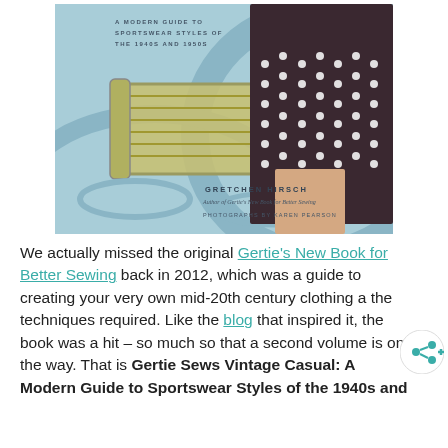[Figure (photo): Book cover of 'Gertie Sews Vintage Casual: A Modern Guide to Sportswear Styles of the 1940s and 1950s' by Gretchen Hirsch, with photographs by Karen Pearson. Shows a woman wearing a dark polka-dot skirt against a light blue mid-century illustrated background with a sewing bobbin graphic.]
We actually missed the original Gertie's New Book for Better Sewing back in 2012, which was a guide to creating your very own mid-20th century clothing a the techniques required. Like the blog that inspired it, the book was a hit – so much so that a second volume is on the way. That is Gertie Sews Vintage Casual: A Modern Guide to Sportswear Styles of the 1940s and